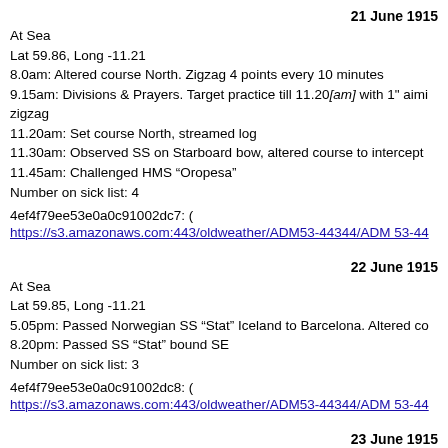21 June 1915
At Sea
Lat 59.86, Long -11.21
8.0am: Altered course North. Zigzag 4 points every 10 minutes
9.15am: Divisions & Prayers. Target practice till 11.20[am] with 1" aiming zigzag
11.20am: Set course North, streamed log
11.30am: Observed SS on Starboard bow, altered course to intercept
11.45am: Challenged HMS “Oropesa”
Number on sick list: 4
4ef4f79ee53e0a0c91002dc7: (
https://s3.amazonaws.com:443/oldweather/ADM53-44344/ADM 53-44...
22 June 1915
At Sea
Lat 59.85, Long -11.21
5.05pm: Passed Norwegian SS “Stat” Iceland to Barcelona. Altered co...
8.20pm: Passed SS “Stat” bound SE
Number on sick list: 3
4ef4f79ee53e0a0c91002dc8: (
https://s3.amazonaws.com:443/oldweather/ADM53-44344/ADM 53-44...
23 June 1915
At Sea
Lat 59.86, Long -11.2
9.15am: Divisions & Prayers
9.30am: Exercised Action Stations